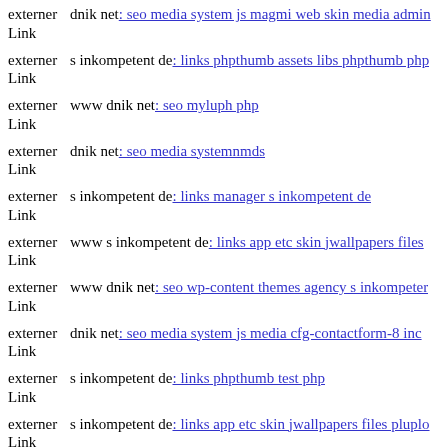externer Link dnik net: seo media system js magmi web skin media admin
externer Link s inkompetent de: links phpthumb assets libs phpthumb php
externer Link www dnik net: seo myluph php
externer Link dnik net: seo media systemnmds
externer Link s inkompetent de: links manager s inkompetent de
externer Link www s inkompetent de: links app etc skin jwallpapers files
externer Link www dnik net: seo wp-content themes agency s inkompetent
externer Link dnik net: seo media system js media cfg-contactform-8 inc
externer Link s inkompetent de: links phpthumb test php
externer Link s inkompetent de: links app etc skin jwallpapers files plupload
externer Link s inkompetent de: links admin components com sexycontact